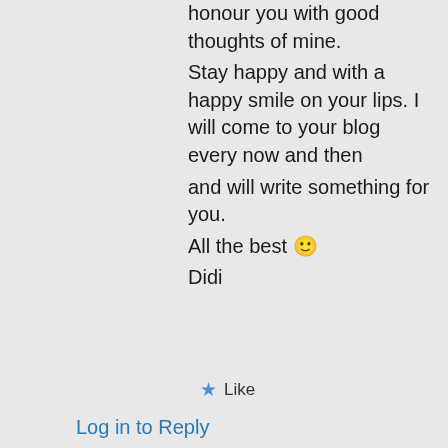honour you with good thoughts of mine. Stay happy and with a happy smile on your lips. I will come to your blog every now and then
and will write something for you.
All the best 🙂
Didi
★ Like
Log in to Reply
Privacy & Cookies: This site uses cookies. By continuing to use this website, you agree to their use.
To find out more, including how to control cookies, see here: Cookie Policy
Close and accept